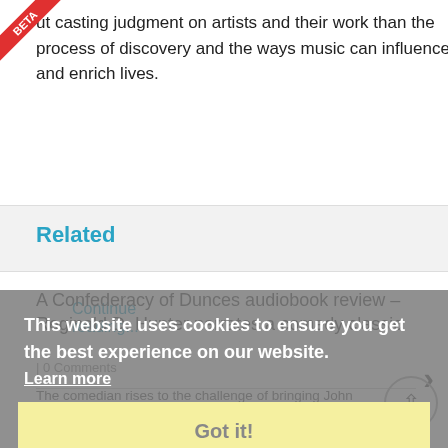ut casting judgment on artists and their work than the process of discovery and the ways music can influence and enrich lives.
Continue reading...
Related
A Confederacy of Dunces audiobook review – Reginald D. Hunter narrates a comedy classic
0 Comments
The comedian rises to the challenge of bringing John Kennedy Toole's motley cast of misfits to life...
Read More >
This website uses cookies to ensure you get the best experience on our website. Learn more
Got it!